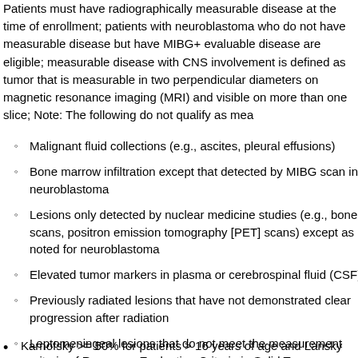Patients must have radiographically measurable disease at the time of enrollment; patients with neuroblastoma who do not have measurable disease but have MIBG+ evaluable disease are eligible; measurable disease with CNS involvement is defined as tumor that is measurable in two perpendicular diameters on magnetic resonance imaging (MRI) and visible on more than one slice; Note: The following do not qualify as measurable disease:
Malignant fluid collections (e.g., ascites, pleural effusions)
Bone marrow infiltration except that detected by MIBG scan in neuroblastoma
Lesions only detected by nuclear medicine studies (e.g., bone scans, positron emission tomography [PET] scans) except as noted for neuroblastoma
Elevated tumor markers in plasma or cerebrospinal fluid (CSF)
Previously radiated lesions that have not demonstrated clear progression after radiation
Leptomeningeal lesions that do not meet the measurement criteria of Response Evaluation Criteria in Solid Tumors (RECIST) 1.1
Karnofsky >= 50% for patients > 16 years of age and Lansky